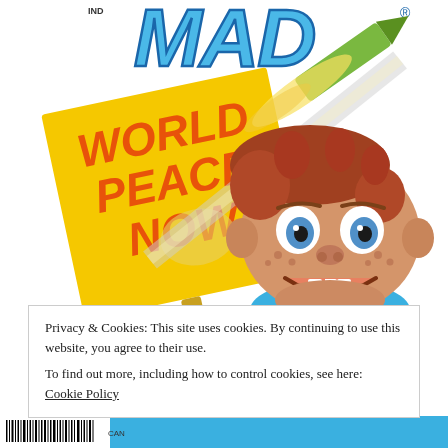[Figure (illustration): MAD Magazine cover showing the MAD logo in blue block letters at top, Alfred E. Neuman (gap-toothed smiling boy with red hair) holding a yellow 'WORLD PEACE NOW' sign being pierced by a missile/rocket. Background is white/light with the mascot character prominently displayed.]
Privacy & Cookies: This site uses cookies. By continuing to use this website, you agree to their use.
To find out more, including how to control cookies, see here: Cookie Policy
Close and accept